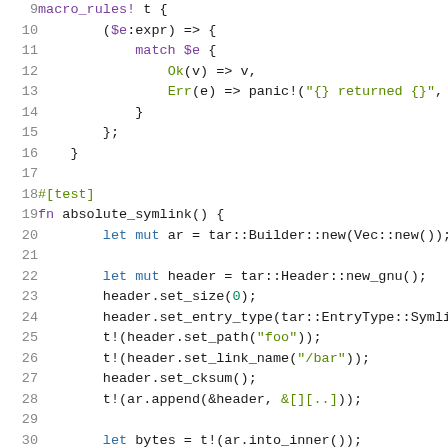[Figure (screenshot): Rust source code snippet showing lines 9-30 with syntax highlighting. Lines 9-16 show a macro_rules! t definition. Lines 18-29 show a #[test] fn absolute_symlink() function with tar archive builder code.]